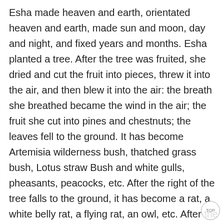Esha made heaven and earth, orientated heaven and earth, made sun and moon, day and night, and fixed years and months. Esha planted a tree. After the tree was fruited, she dried and cut the fruit into pieces, threw it into the air, and then blew it into the air: the breath she breathed became the wind in the air; the fruit she cut into pines and chestnuts; the leaves fell to the ground. It has become Artemisia wilderness bush, thatched grass bush, Lotus straw Bush and white gulls, pheasants, peacocks, etc. After the right of the tree falls to the ground, it has become a rat, a white belly rat, a flying rat, an owl, etc. After the trunk is cut down, it has become wild boar, an old bear, a bison and so on. Tree Festival has become a bee, a rock bee, an ant, a long snake, a swimming fish and so on.* All things were created by Esha. The way she created everything was magical: Isa was God, with God's power and power. In addition, in